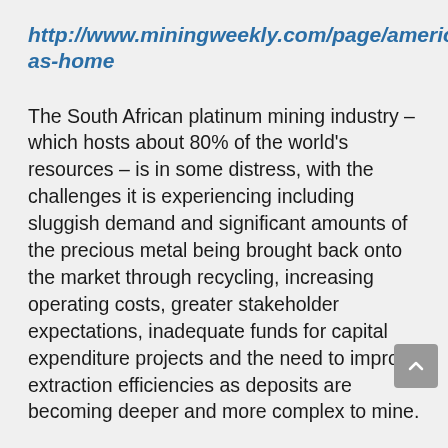http://www.miningweekly.com/page/americas-home
The South African platinum mining industry – which hosts about 80% of the world's resources – is in some distress, with the challenges it is experiencing including sluggish demand and significant amounts of the precious metal being brought back onto the market through recycling, increasing operating costs, greater stakeholder expectations, inadequate funds for capital expenditure projects and the need to improve extraction efficiencies as deposits are becoming deeper and more complex to mine.